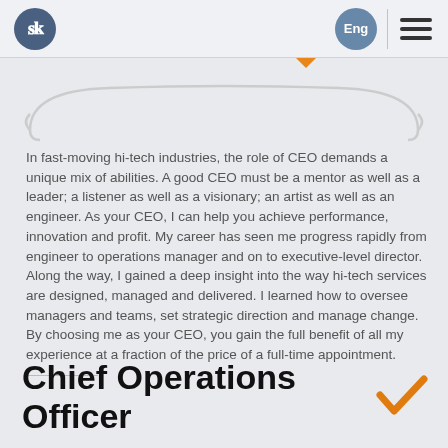PK | Eng
[Figure (illustration): Decorative curly brace / bracket shape in light gray spanning the width of the page]
In fast-moving hi-tech industries, the role of CEO demands a unique mix of abilities. A good CEO must be a mentor as well as a leader; a listener as well as a visionary; an artist as well as an engineer. As your CEO, I can help you achieve performance, innovation and profit. My career has seen me progress rapidly from engineer to operations manager and on to executive-level director.
Along the way, I gained a deep insight into the way hi-tech services are designed, managed and delivered. I learned how to oversee managers and teams, set strategic direction and manage change. By choosing me as your CEO, you gain the full benefit of all my experience at a fraction of the price of a full-time appointment.
Chief Operations Officer